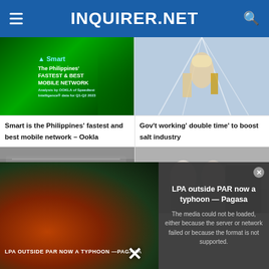INQUIRER.NET
[Figure (screenshot): Smart advertisement banner - The Philippines' Fastest & Best Mobile Network]
Smart is the Philippines' fastest and best mobile network – Ookla
[Figure (photo): Person doing extreme sport or action shot with motion blur]
Gov't working 'double time' to boost salt industry
[Figure (photo): Dried fish laid out on racks/trays]
[Figure (photo): People with masks gathered around a vehicle]
[Figure (screenshot): LPA weather map overlay with error message: The media could not be loaded, either because the server or network failed or because the format is not supported.]
LPA outside PAR now a typhoon — Pagasa
The media could not be loaded, either because the server or network failed or because the format is not supported.
LPA OUTSIDE PAR NOW A TYPHOON —PAGASA